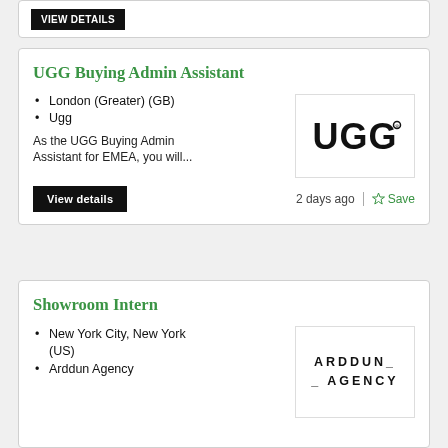[Figure (logo): Partial top card with a black 'View details' button visible at top]
UGG Buying Admin Assistant
London (Greater) (GB)
Ugg
As the UGG Buying Admin Assistant for EMEA, you will...
[Figure (logo): UGG brand logo in bold black text]
View details
2 days ago
Save
Showroom Intern
New York City, New York (US)
Arddun Agency
[Figure (logo): ARDDUN_ _AGENCY logo in bold spaced letters]